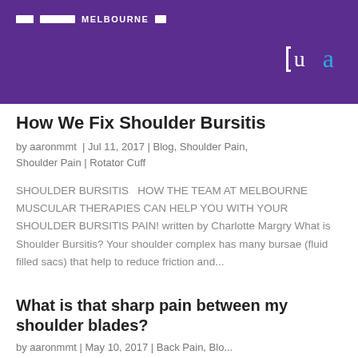MELBOURNE
How We Fix Shoulder Bursitis
by aaronmmt | Jul 11, 2017 | Blog, Shoulder Pain, Shoulder Pain | Rotator Cuff
SHOULDER BURSITIS  HOW THE TEAM AT MELBOURNE MUSCULAR THERAPIES CAN HELP YOU WITH YOUR SHOULDER BURSITIS PAIN! written by Charlotte Margry What is Shoulder Bursitis? Your shoulder complex has many bursae (fluid filled sacs) that help to reduce friction and...
What is that sharp pain between my shoulder blades?
by aaronmmt | May 10, 2017 | Back Pain, Blog...